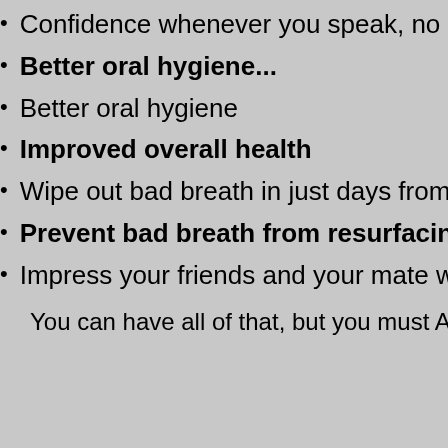Confidence whenever you speak, no...
Better oral hygiene...
Better oral hygiene
Improved overall health
Wipe out bad breath in just days from...
Prevent bad breath from resurfacin...
Impress your friends and your mate w...
You can have all of that, but you must ACT...
One FREE "The Secrets To A...
Attract...
Fresh from the smart folks at Barton Publishing, this info...
notice, but how to sea...